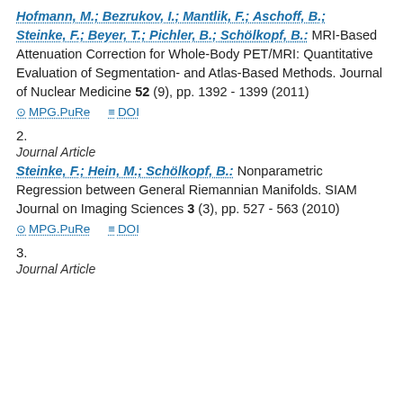Hofmann, M.; Bezrukov, I.; Mantlik, F.; Aschoff, B.; Steinke, F.; Beyer, T.; Pichler, B.; Schölkopf, B.: MRI-Based Attenuation Correction for Whole-Body PET/MRI: Quantitative Evaluation of Segmentation- and Atlas-Based Methods. Journal of Nuclear Medicine 52 (9), pp. 1392 - 1399 (2011)
MPG.PuRe   DOI
2.
Journal Article
Steinke, F.; Hein, M.; Schölkopf, B.: Nonparametric Regression between General Riemannian Manifolds. SIAM Journal on Imaging Sciences 3 (3), pp. 527 - 563 (2010)
MPG.PuRe   DOI
3.
Journal Article